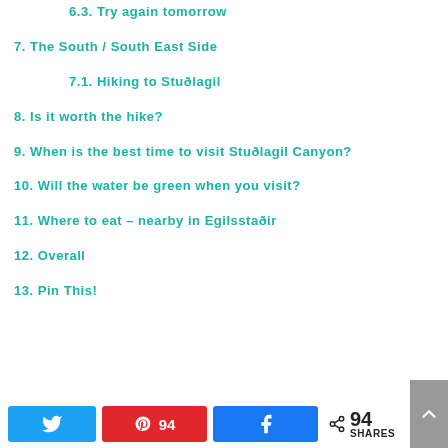6.3. Try again tomorrow
7. The South / South East Side
7.1. Hiking to Stuðlagil
8. Is it worth the hike?
9. When is the best time to visit Stuðlagil Canyon?
10. Will the water be green when you visit?
11. Where to eat – nearby in Egilsstaðir
12. Overall
13. Pin This!